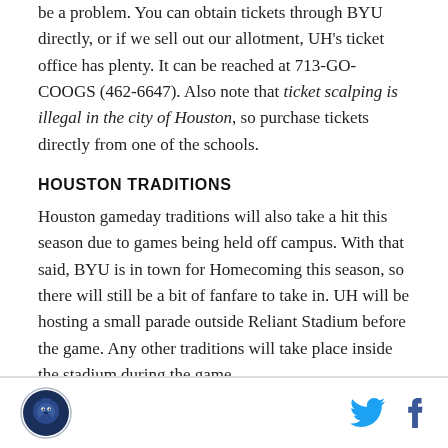be a problem. You can obtain tickets through BYU directly, or if we sell out our allotment, UH's ticket office has plenty. It can be reached at 713-GO-COOGS (462-6647). Also note that ticket scalping is illegal in the city of Houston, so purchase tickets directly from one of the schools.
HOUSTON TRADITIONS
Houston gameday traditions will also take a hit this season due to games being held off campus. With that said, BYU is in town for Homecoming this season, so there will still be a bit of fanfare to take in. UH will be hosting a small parade outside Reliant Stadium before the game. Any other traditions will take place inside the stadium during the game.